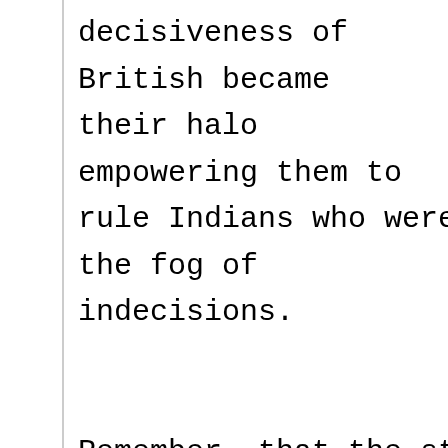decisiveness of British became their halo empowering them to rule Indians who were lost in the fog of indecisions.

Remember, that the step once taken can not be retraced without much loss of time, advantage and labour